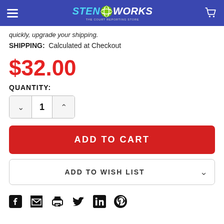StenoWorks - The Court Reporting Store
quickly, upgrade your shipping.
SHIPPING: Calculated at Checkout
$32.00
QUANTITY:
1
ADD TO CART
ADD TO WISH LIST
[Figure (other): Social media share icons: Facebook, Email, Print, Twitter, LinkedIn, Pinterest]